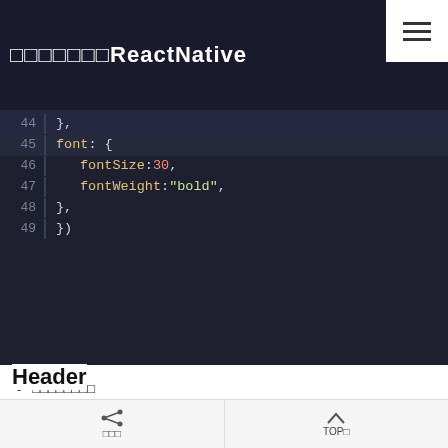□□□□□□□ReactNative
[Figure (screenshot): Code editor screenshot showing lines 44-49 of JavaScript/React Native stylesheet code. Line 44: }, Line 45: font: { Line 46: fontSize: 30, Line 47: fontWeight: "bold", Line 48: }, Line 49: })]
□□□□□□□□
react-native-elements□□□□□□Header□□□□□□□□□□□
Header□□□□□□□□□□□□□□□□□□□□□□□□□□
Header
□□□    TOP□